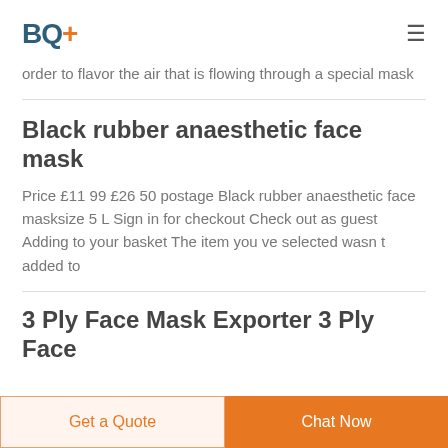BQ+ [hamburger menu icon]
order to flavor the air that is flowing through a special mask
Black rubber anaesthetic face mask
Price £11 99 £26 50 postage Black rubber anaesthetic face masksize 5 L Sign in for checkout Check out as guest Adding to your basket The item you ve selected wasn t added to
3 Ply Face Mask Exporter 3 Ply Face